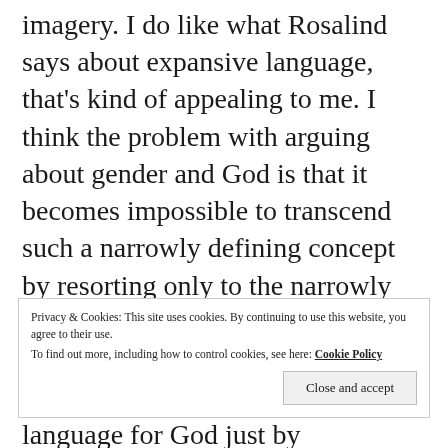imagery. I do like what Rosalind says about expansive language, that's kind of appealing to me. I think the problem with arguing about gender and God is that it becomes impossible to transcend such a narrowly defining concept by resorting only to the narrowly defined parameters themselves. In other words we can't get around people's personal hangups about language for God just by substituting similar language. And as much as I understand people feeling excluded when we use only male
Privacy & Cookies: This site uses cookies. By continuing to use this website, you agree to their use.
To find out more, including how to control cookies, see here: Cookie Policy
Close and accept